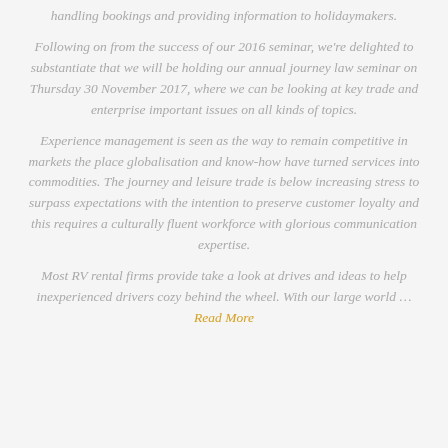handling bookings and providing information to holidaymakers.
Following on from the success of our 2016 seminar, we're delighted to substantiate that we will be holding our annual journey law seminar on Thursday 30 November 2017, where we can be looking at key trade and enterprise important issues on all kinds of topics.
Experience management is seen as the way to remain competitive in markets the place globalisation and know-how have turned services into commodities. The journey and leisure trade is below increasing stress to surpass expectations with the intention to preserve customer loyalty and this requires a culturally fluent workforce with glorious communication expertise.
Most RV rental firms provide take a look at drives and ideas to help inexperienced drivers cozy behind the wheel. With our large world … Read More